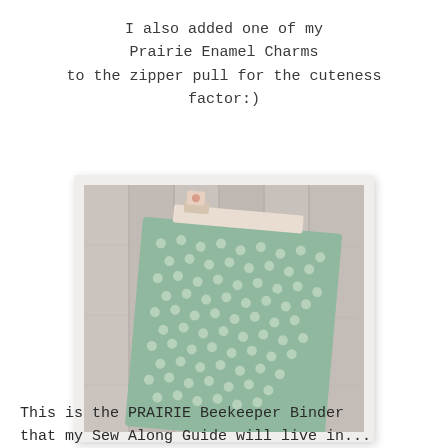I also added one of my Prairie Enamel Charms to the zipper pull for the cuteness factor:)
[Figure (photo): A green floral/dotted fabric binder/pouch photographed on a wooden surface, with a small decorative enamel charm visible at the top zipper area.]
This is the PRAIRIE Beekeeper Binder that my Sew Along Guide will live in...